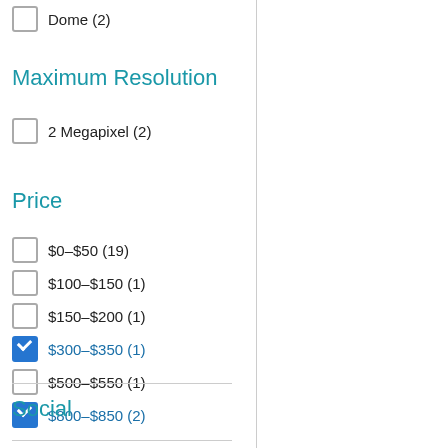Dome (2)
Maximum Resolution
2 Megapixel (2)
Price
$0–$50 (19)
$100–$150 (1)
$150–$200 (1)
$300–$350 (1)
$500–$550 (1)
$800–$850 (2)
Social